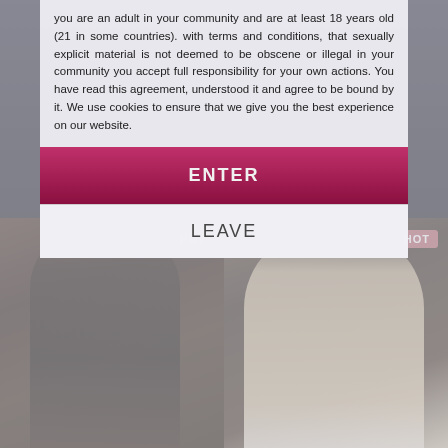you are an adult in your community and are at least 18 years old (21 in some countries). with terms and conditions, that sexually explicit material is not deemed to be obscene or illegal in your community you accept full responsibility for your own actions. You have read this agreement, understood it and agree to be bound by it. We use cookies to ensure that we give you the best experience on our website.
ENTER
LEAVE
[Figure (photo): Two photos of women side by side, each with a HOT badge in the top right corner]
Home / Netherlands / Rotterdam